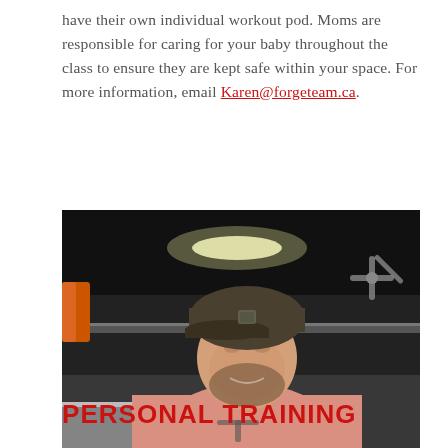have their own individual workout pod. Moms are responsible for caring for your baby throughout the class to ensure they are kept safe within your space. For more information, email Karen@forgeteam.ca.
[Figure (photo): A smiling young man with a beard wearing a salmon/pink t-shirt with a logo and a dark baseball cap, standing in a gym with dark ceiling, overhead lighting, and a ceiling fan visible in the background.]
PERSONAL TRAINING